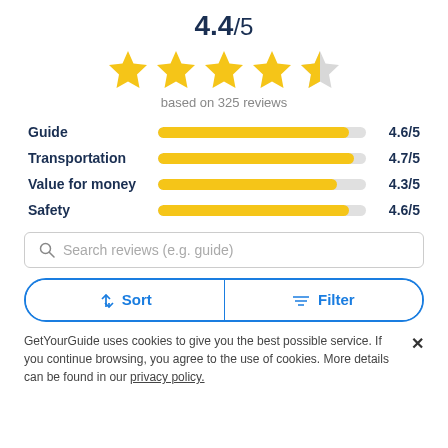4.4/5
[Figure (infographic): 5-star rating display: 4 full yellow stars and 1 half yellow/grey star]
based on 325 reviews
[Figure (bar-chart): Sub-category ratings]
Search reviews (e.g. guide)
Sort   Filter
GetYourGuide uses cookies to give you the best possible service. If you continue browsing, you agree to the use of cookies. More details can be found in our privacy policy.